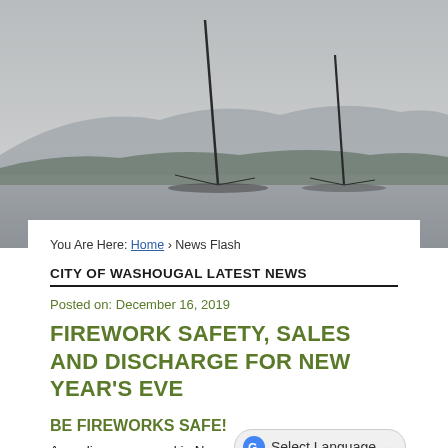[Figure (photo): Outdoor scenic photo of boat masts at a marina with misty mountains and a grey sky in the background.]
You Are Here: Home › News Flash
CITY OF WASHOUGAL LATEST NEWS
Posted on: December 16, 2019
FIREWORK SAFETY, SALES AND DISCHARGE FOR NEW YEAR'S EVE
BE FIREWORKS SAFE!
An ordinance passed in November 2017 by Washougal